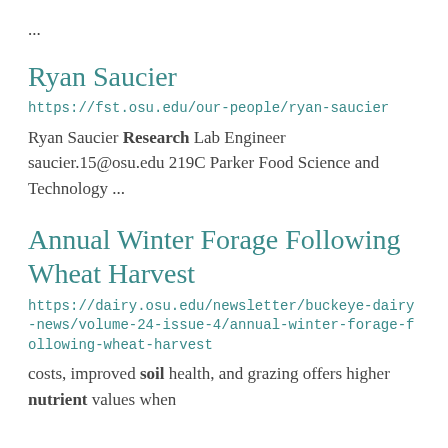...
Ryan Saucier
https://fst.osu.edu/our-people/ryan-saucier
Ryan Saucier Research Lab Engineer saucier.15@osu.edu 219C Parker Food Science and Technology ...
Annual Winter Forage Following Wheat Harvest
https://dairy.osu.edu/newsletter/buckeye-dairy-news/volume-24-issue-4/annual-winter-forage-following-wheat-harvest
costs, improved soil health, and grazing offers higher nutrient values when